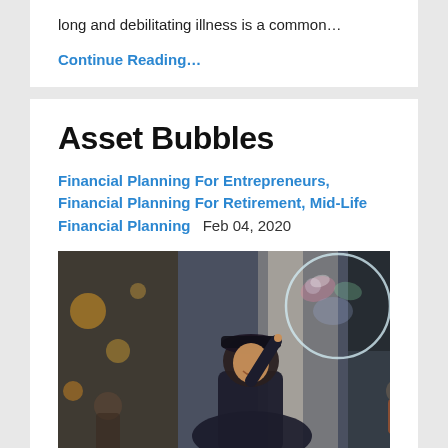long and debilitating illness is a common…
Continue Reading…
Asset Bubbles
Financial Planning For Entrepreneurs, Financial Planning For Retirement, Mid-Life Financial Planning    Feb 04, 2020
[Figure (photo): A woman balancing a large soap bubble on her finger in a crowded outdoor market or city square, smiling upward at the bubble. Bokeh background with lights and architecture.]